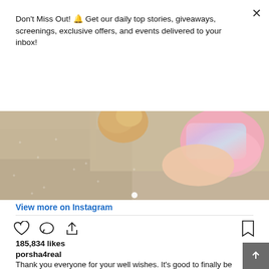Don't Miss Out! 🔔 Get our daily top stories, giveaways, screenings, exclusive offers, and events delivered to your inbox!
Subscribe
[Figure (photo): Photo of a person lying on a sparkly star-patterned blanket with stuffed animals, wearing a pink/rainbow top]
View more on Instagram
[Figure (infographic): Instagram action icons: heart, comment, share, bookmark]
185,834 likes
porsha4real
Thank you everyone for your well wishes. It's good to finally be home from the hospital. I Love, love my flowers from